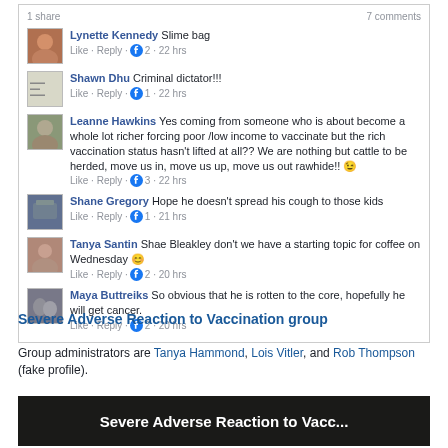1 share | 7 comments
Lynette Kennedy Slime bag
Like · Reply · 2 · 22 hrs
Shawn Dhu Criminal dictator!!!
Like · Reply · 1 · 22 hrs
Leanne Hawkins Yes coming from someone who is about become a whole lot richer forcing poor /low income to vaccinate but the rich vaccination status hasn't lifted at all?? We are nothing but cattle to be herded, move us in, move us up, move us out rawhide!! 😉
Like · Reply · 3 · 22 hrs
Shane Gregory Hope he doesn't spread his cough to those kids
Like · Reply · 1 · 21 hrs
Tanya Santin Shae Bleakley don't we have a starting topic for coffee on Wednesday 😊
Like · Reply · 2 · 20 hrs
Maya Buttreiks So obvious that he is rotten to the core, hopefully he will get cancer.
Like · Reply · 2 · 20 hrs
Severe Adverse Reaction to Vaccination group
Group administrators are Tanya Hammond, Lois Vitler, and Rob Thompson (fake profile).
[Figure (screenshot): Dark banner image showing text 'Severe Adverse Reaction to Vacc...']